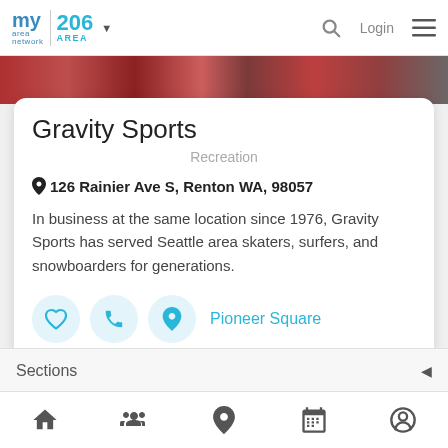my area network | 206 AREA | Login
[Figure (photo): Hero image strip showing colorful sports equipment (skateboards, snowboards) in red tones]
Gravity Sports
Recreation
126 Rainier Ave S, Renton WA, 98057
In business at the same location since 1976, Gravity Sports has served Seattle area skaters, surfers, and snowboarders for generations.
Pioneer Square
Sections
Home | People | Location | Calendar | Profile